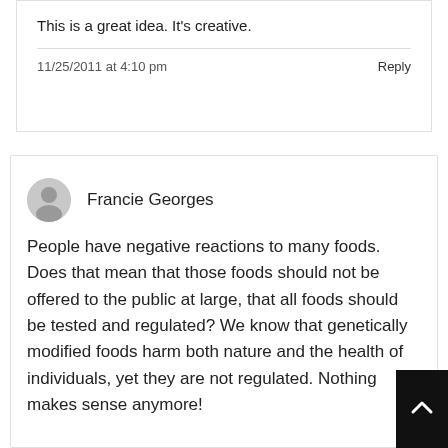This is a great idea. It's creative.
11/25/2011 at 4:10 pm
Reply
Francie Georges
People have negative reactions to many foods. Does that mean that those foods should not be offered to the public at large, that all foods should be tested and regulated? We know that genetically modified foods harm both nature and the health of individuals, yet they are not regulated. Nothing makes sense anymore!